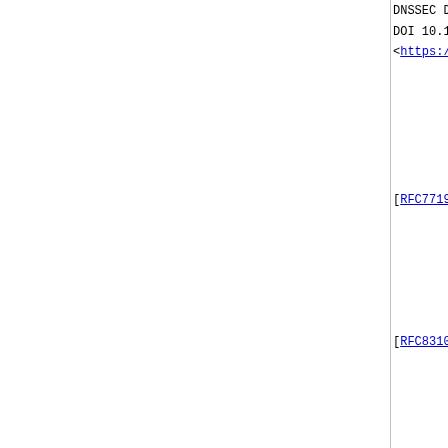DNSSEC Delegat...
DOI 10.17487/RF...
<https://www.rf...
[RFC7719]    Hoffman, P., Su...
Terminology", R...
2015, <https:/...
[RFC8310]    Dickinson, S.,...
for DNS over TL...
DOI 10.17487/RF...
<https://www.rf...
14.2.  Informative References
[IANA_Resource_Registry]
               IANA, "Resource...
               <https://www.ia...
[RFC819]    Su, Z. and J. R...
Internet User ...